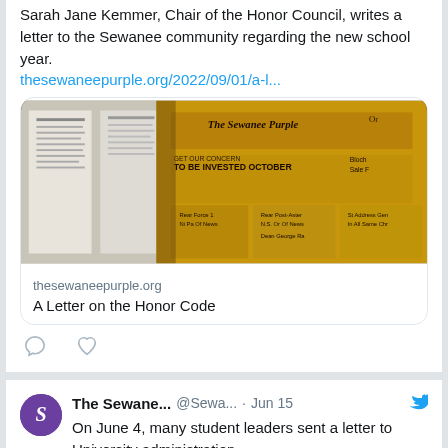Sarah Jane Kemmer, Chair of the Honor Council, writes a letter to the Sewanee community regarding the new school year.
thesewaneepurple.org/2022/09/01/a-l...
[Figure (photo): Photo of old yellowed newspapers, showing 'The Sewanee Purple' masthead, with headline text visible including 'TO BE INVESTED OCTOBER']
thesewaneepurple.org
A Letter on the Honor Code
The Sewane... @Sewa... · Jun 15
On June 4, many student leaders sent a letter to University administration